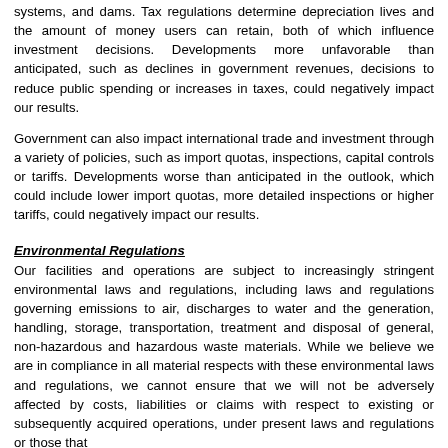systems, and dams. Tax regulations determine depreciation lives and the amount of money users can retain, both of which influence investment decisions. Developments more unfavorable than anticipated, such as declines in government revenues, decisions to reduce public spending or increases in taxes, could negatively impact our results.
Government can also impact international trade and investment through a variety of policies, such as import quotas, inspections, capital controls or tariffs. Developments worse than anticipated in the outlook, which could include lower import quotas, more detailed inspections or higher tariffs, could negatively impact our results.
Environmental Regulations
Our facilities and operations are subject to increasingly stringent environmental laws and regulations, including laws and regulations governing emissions to air, discharges to water and the generation, handling, storage, transportation, treatment and disposal of general, non-hazardous and hazardous waste materials. While we believe we are in compliance in all material respects with these environmental laws and regulations, we cannot ensure that we will not be adversely affected by costs, liabilities or claims with respect to existing or subsequently acquired operations, under present laws and regulations or those that